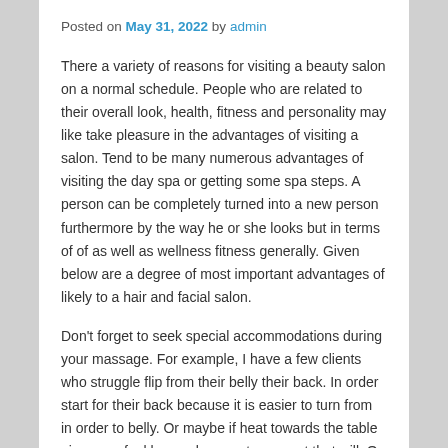Posted on May 31, 2022 by admin
There a variety of reasons for visiting a beauty salon on a normal schedule. People who are related to their overall look, health, fitness and personality may like take pleasure in the advantages of visiting a salon. Tend to be many numerous advantages of visiting the day spa or getting some spa steps. A person can be completely turned into a new person furthermore by the way he or she looks but in terms of of as well as wellness fitness generally. Given below are a degree of most important advantages of likely to a hair and facial salon.
Don't forget to seek special accommodations during your massage. For example, I have a few clients who struggle flip from their belly their back. In order start for their back because it is easier to turn from in order to belly. Or maybe if heat towards the table gives you feel looser, be sure to request that will. On the other hand, some sufferers get more uncomfortable with too much heat, so be apt to request a great table. No detail as well small if it